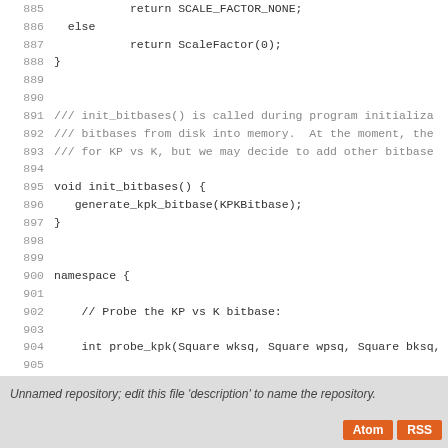Code listing lines 885-912: C++ source code showing scale factor and bitbase functions
Unnamed repository; edit this file 'description' to name the repository.
Atom | RSS